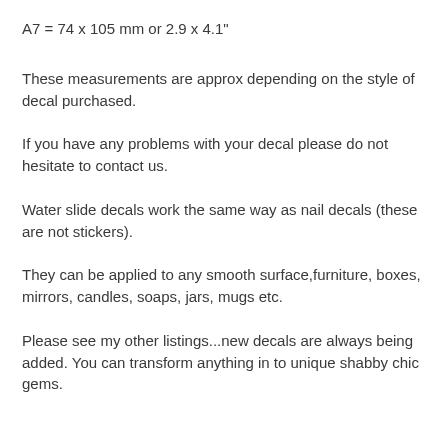A7 = 74 x 105 mm or 2.9 x 4.1"
These measurements are approx depending on the style of decal purchased.
If you have any problems with your decal please do not hesitate to contact us.
Water slide decals work the same way as nail decals (these are not stickers).
They can be applied to any smooth surface,furniture, boxes, mirrors, candles, soaps, jars, mugs etc.
Please see my other listings...new decals are always being added. You can transform anything in to unique shabby chic gems.